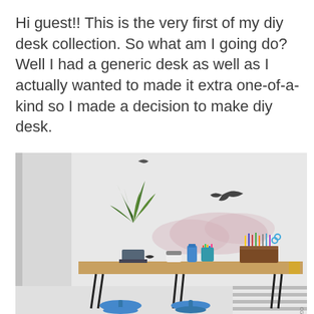Hi guest!! This is the very first of my diy desk collection. So what am I going do? Well I had a generic desk as well as I actually wanted to made it extra one-of-a-kind so I made a decision to make diy desk.
[Figure (photo): A DIY desk with hairpin legs topped with a wooden surface. A potted plant (yucca) sits on the left side. Various items are on the desk including pencil holders, small figurines, and a water bottle. A wooden organizer with pens/pencils is on the right. Two blue mushroom-shaped stools are in front. The wall behind has a painted bird silhouette and a pink watercolor cloud shape.]